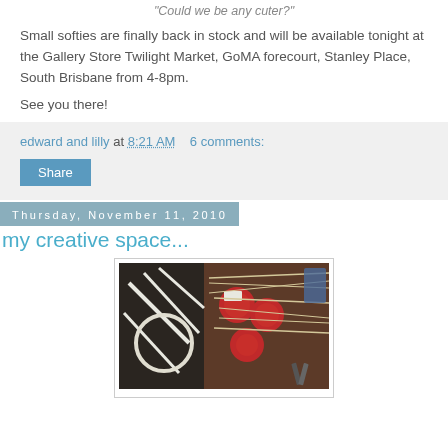"Could we be any cuter?"
Small softies are finally back in stock and will be available tonight at the Gallery Store Twilight Market, GoMA forecourt, Stanley Place, South Brisbane from 4-8pm.
See you there!
edward and lilly at 8:21 AM   6 comments:
Share
Thursday, November 11, 2010
my creative space...
[Figure (photo): Craft workspace photo showing embroidery hoops, red circular felt pieces, and string/thread on a dark wooden table]